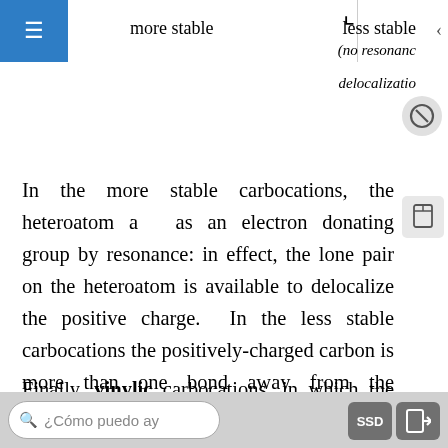[Figure (screenshot): Mobile app top navigation bar with hamburger menu (blue), 'more stable' label, corner bracket, 'less stable' label with '(no resonance' and 'delocalization' text, chevron, and UI icons]
In the more stable carbocations, the heteroatom acts as an electron donating group by resonance: in effect, the lone pair on the heteroatom is available to delocalize the positive charge. In the less stable carbocations the positively-charged carbon is more than one bond away from the heteroatom, and thus no resonance effects are possible. In fact, in these carbocation species the heteroatoms actually destabilize the positive charge, because they are electron withdrawing by induction.
Finally, vinylic carbocations, in which the positive